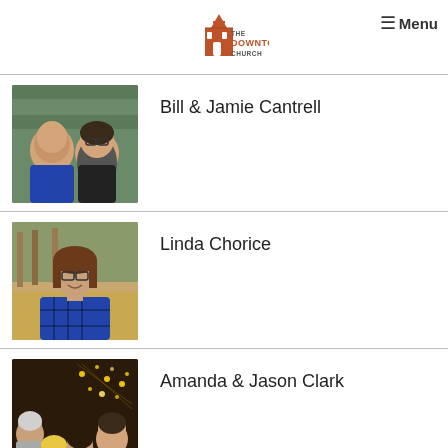The Downtown Church — Menu
Bill & Jamie Cantrell
Linda Chorice
Amanda & Jason Clark